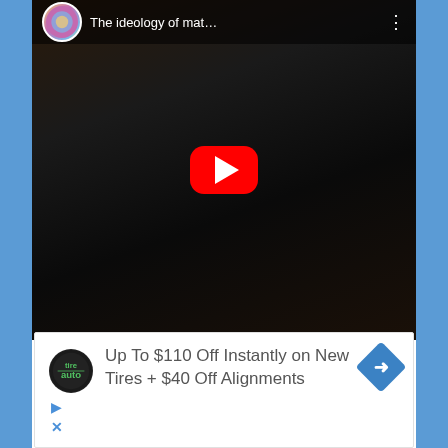[Figure (screenshot): YouTube video thumbnail/embed showing a video titled 'The ideology of mat...' with a red play button in the center. A circular avatar is shown in the top-left of the player. Three-dot menu icon on the top right.]
[Figure (screenshot): Advertisement banner for Tire & Auto: 'Up To $110 Off Instantly on New Tires + $40 Off Alignments' with Tire Auto logo (circular black badge), blue diamond arrow icon on right, and small play/close icons on bottom left.]